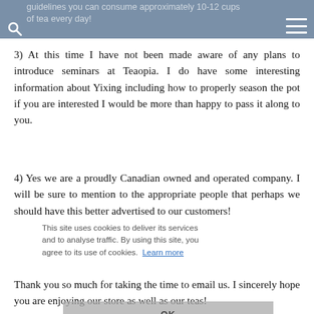guidelines you can consume approximately 10-12 cups of tea every day!
3) At this time I have not been made aware of any plans to introduce seminars at Teaopia. I do have some interesting information about Yixing including how to properly season the pot if you are interested I would be more than happy to pass it along to you.
4) Yes we are a proudly Canadian owned and operated company. I will be sure to mention to the appropriate people that perhaps we should have this better advertised to our customers!
Thank you so much for taking the time to email us. I sincerely hope you are enjoying our store as well as our teas!